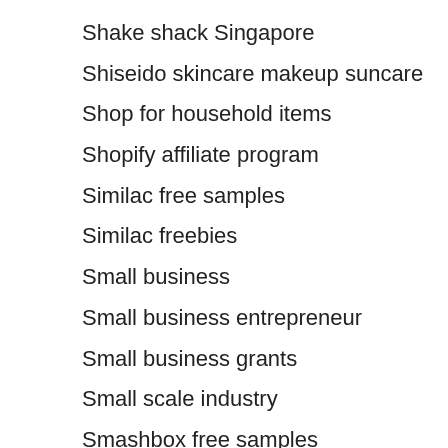Shake shack Singapore
Shiseido skincare makeup suncare
Shop for household items
Shopify affiliate program
Similac free samples
Similac freebies
Small business
Small business entrepreneur
Small business grants
Small scale industry
Smashbox free samples
Smile direct whitening
Smirk teeth whitening